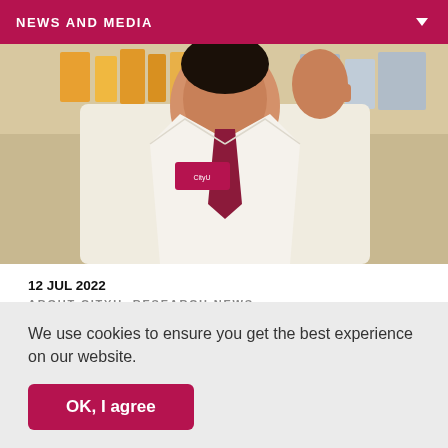NEWS AND MEDIA
[Figure (photo): Researcher in a white lab coat holding something up in a laboratory setting, with lab equipment and shelves in the background.]
12 JUL 2022
ABOUT CITYU, RESEARCH NEWS
CityU secures research funding from the RGC to tackle the global public health threat from hypervirulent, multidrug-resistant pathogens
We use cookies to ensure you get the best experience on our website.
OK, I agree